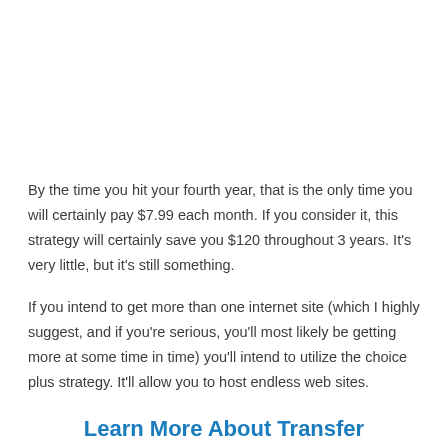By the time you hit your fourth year, that is the only time you will certainly pay $7.99 each month. If you consider it, this strategy will certainly save you $120 throughout 3 years. It's very little, but it's still something.
If you intend to get more than one internet site (which I highly suggest, and if you're serious, you'll most likely be getting more at some time in time) you'll intend to utilize the choice plus strategy. It'll allow you to host endless web sites.
Learn More About Transfer